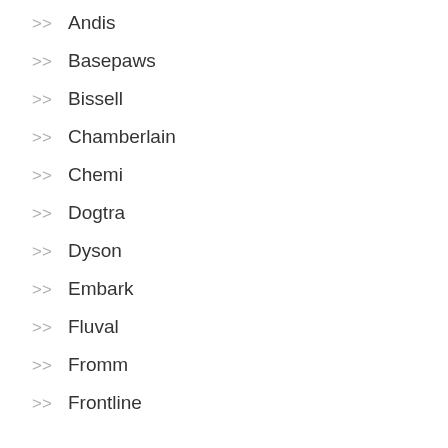>> Andis
>> Basepaws
>> Bissell
>> Chamberlain
>> Chemi
>> Dogtra
>> Dyson
>> Embark
>> Fluval
>> Fromm
>> Frontline